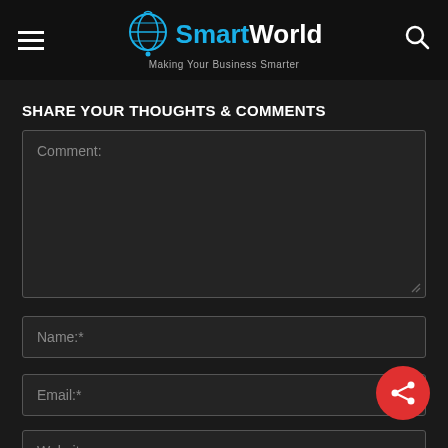SmartWorld — Making Your Business Smarter
SHARE YOUR THOUGHTS & COMMENTS
Comment:
Name:*
Email:*
Website: